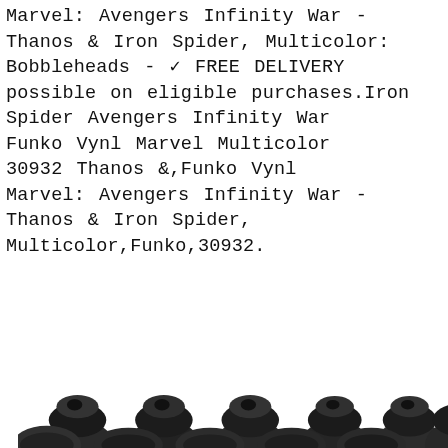Marvel: Avengers Infinity War - Thanos & Iron Spider, Multicolor: Bobbleheads - ✓ FREE DELIVERY possible on eligible purchases.Iron Spider Avengers Infinity War Funko Vynl Marvel Multicolor 30932 Thanos &,Funko Vynl Marvel: Avengers Infinity War - Thanos & Iron Spider, Multicolor,Funko,30932.
[Figure (photo): Black and white photo of small dark bobblehead/figurine bases arranged in two rows, showing approximately 12 round dark objects viewed from above at slight angle]